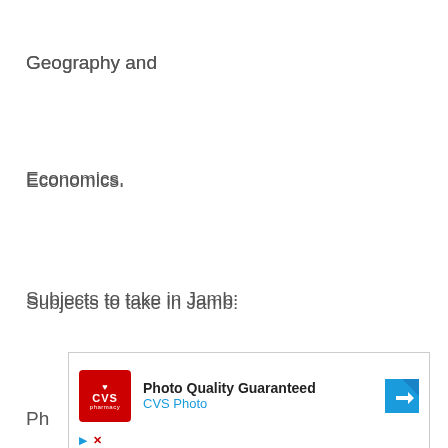Geography and
Economics.
Subjects to take in Jamb:
Chemistry,
Biology / Agriculture
and any one of
Ph...
[Figure (other): CVS Pharmacy advertisement banner: 'Photo Quality Guaranteed' with CVS Photo branding, a red CVS pharmacy logo, blue arrow direction sign, and ad controls (play and close buttons).]